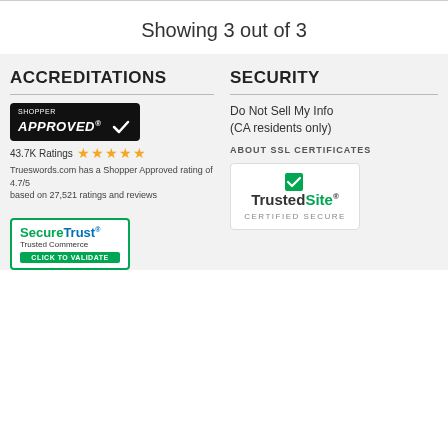Showing 3 out of 3
ACCREDITATIONS
SECURITY
[Figure (logo): Shopper Approved badge with 43.7K ratings and 5 stars]
43.7K Ratings ★★★★★
Trueswords.com has a Shopper Approved rating of 4.7/5 based on 27,521 ratings and reviews
[Figure (logo): SecureTrust Trusted Commerce - Click to Validate badge]
Do Not Sell My Info (CA residents only)
ABOUT SSL CERTIFICATES
[Figure (logo): TrustedSite Certified Secure badge]